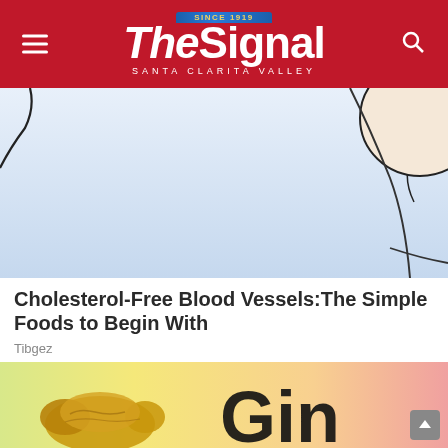The Signal — Santa Clarita Valley
[Figure (illustration): Illustration showing abstract human body outline, light blue background, partial view of neck/head area suggesting blood vessel or anatomy visual]
Cholesterol-Free Blood Vessels:The Simple Foods to Begin With
Tibgez
[Figure (photo): Partial photo showing ginger root on a colorful gradient background (yellow-green to pink), with large text 'Gin' visible — cropped article thumbnail]